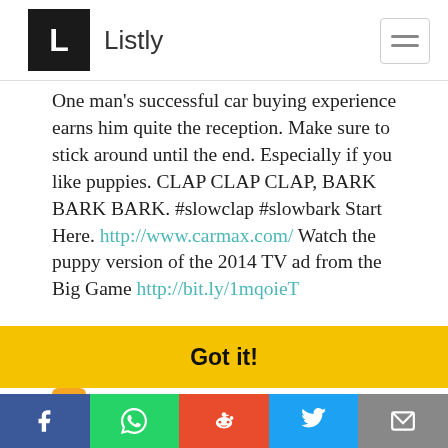Listly
One man's successful car buying experience earns him quite the reception. Make sure to stick around until the end. Especially if you like puppies. CLAP CLAP CLAP, BARK BARK BARK. #slowclap #slowbark Start Here. http://www.carmax.com/ Watch the puppy version of the 2014 TV ad from the Big Game http://bit.ly/1mqoieT
👍 2
This website uses cookies to ensure you get the best experience on our website. Learn more
Got it!
Facebook WhatsApp Reddit Twitter Email